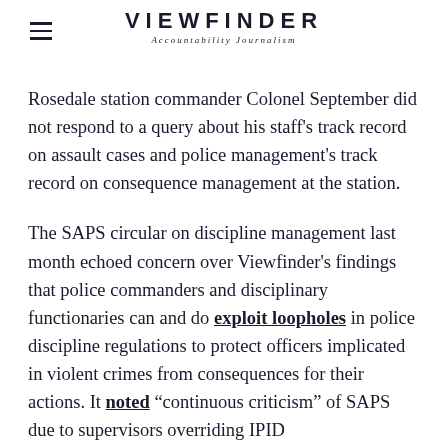VIEWFINDER — Accountability Journalism
Rosedale station commander Colonel September did not respond to a query about his staff's track record on assault cases and police management's track record on consequence management at the station.
The SAPS circular on discipline management last month echoed concern over Viewfinder's findings that police commanders and disciplinary functionaries can and do exploit loopholes in police discipline regulations to protect officers implicated in violent crimes from consequences for their actions. It noted "continuous criticism" of SAPS due to supervisors overriding IPID